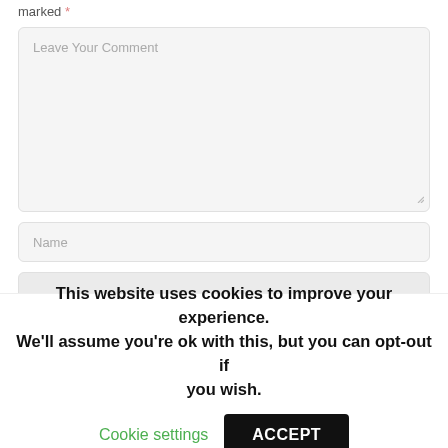marked *
Leave Your Comment
Name
This website uses cookies to improve your experience. We'll assume you're ok with this, but you can opt-out if you wish.
Cookie settings
ACCEPT